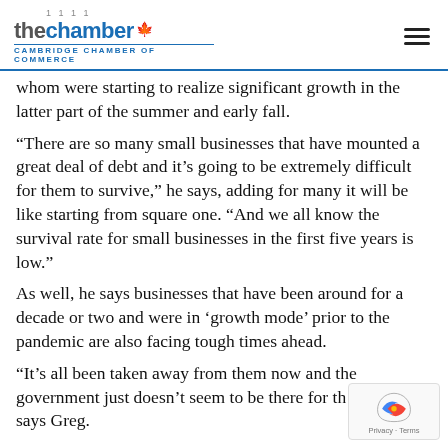the chamber - CAMBRIDGE CHAMBER OF COMMERCE
whom were starting to realize significant growth in the latter part of the summer and early fall.
“There are so many small businesses that have mounted a great deal of debt and it’s going to be extremely difficult for them to survive,” he says, adding for many it will be like starting from square one. “And we all know the survival rate for small businesses in the first five years is low.”
As well, he says businesses that have been around for a decade or two and were in ‘growth mode’ prior to the pandemic are also facing tough times ahead.
“It’s all been taken away from them now and the government just doesn’t seem to be there for th says Greg.